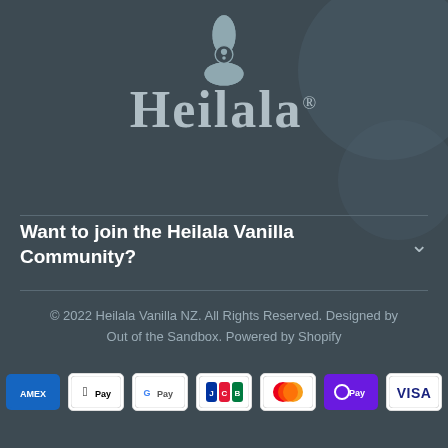[Figure (logo): Heilala Vanilla logo: a stylized four-petal flower above the word Heilala in large grey serif text with a registered trademark symbol]
Want to join the Heilala Vanilla Community?
© 2022 Heilala Vanilla NZ. All Rights Reserved. Designed by Out of the Sandbox. Powered by Shopify
[Figure (infographic): Row of payment method logos: American Express, Apple Pay, Google Pay, JCB, Mastercard, OPay, Visa]